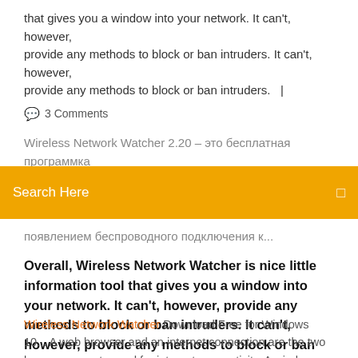that gives you a window into your network. It can't, however, provide any methods to block or ban intruders. It can't, however, provide any methods to block or ban intruders.  |
💬  3 Comments
Wireless Network Watcher 2.20 – это бесплатная программка для сканирования и обнаружения компьютеров в
Search Here
появлением беспроводного подключения к...
Overall, Wireless Network Watcher is nice little information tool that gives you a window into your network. It can't, however, provide any methods to block or ban intruders. It can't, however, provide any methods to block or ban intruders.
Wireless Network Watcher Download Free for Windows 10... A web browser and an internet connection are the two key components used for internet connectivity. A wireless internet